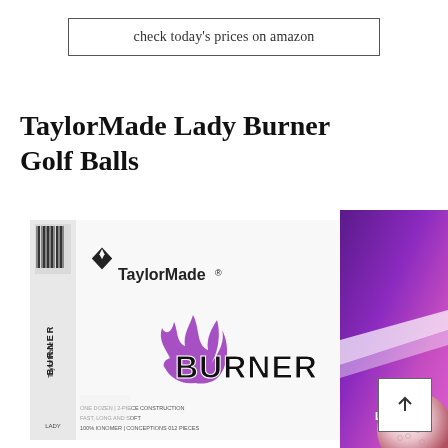check today's prices on amazon
TaylorMade Lady Burner Golf Balls
[Figure (photo): Product photo of TaylorMade Lady Burner Golf Balls box, white box with purple/pink accents, BURNER logo prominently displayed, golf ball visible to the right side]